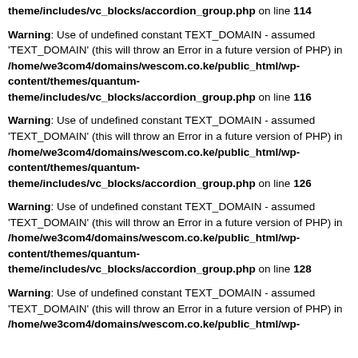theme/includes/vc_blocks/accordion_group.php on line 114
Warning: Use of undefined constant TEXT_DOMAIN - assumed 'TEXT_DOMAIN' (this will throw an Error in a future version of PHP) in /home/we3com4/domains/wescom.co.ke/public_html/wp-content/themes/quantum-theme/includes/vc_blocks/accordion_group.php on line 116
Warning: Use of undefined constant TEXT_DOMAIN - assumed 'TEXT_DOMAIN' (this will throw an Error in a future version of PHP) in /home/we3com4/domains/wescom.co.ke/public_html/wp-content/themes/quantum-theme/includes/vc_blocks/accordion_group.php on line 126
Warning: Use of undefined constant TEXT_DOMAIN - assumed 'TEXT_DOMAIN' (this will throw an Error in a future version of PHP) in /home/we3com4/domains/wescom.co.ke/public_html/wp-content/themes/quantum-theme/includes/vc_blocks/accordion_group.php on line 128
Warning: Use of undefined constant TEXT_DOMAIN - assumed 'TEXT_DOMAIN' (this will throw an Error in a future version of PHP) in /home/we3com4/domains/wescom.co.ke/public_html/wp-content/themes/quantum-theme/includes/vc_blocks/accordion_group.php